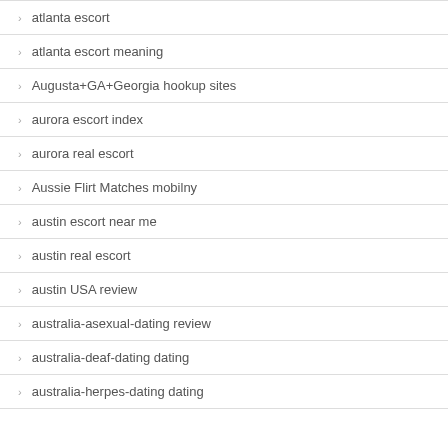atlanta escort
atlanta escort meaning
Augusta+GA+Georgia hookup sites
aurora escort index
aurora real escort
Aussie Flirt Matches mobilny
austin escort near me
austin real escort
austin USA review
australia-asexual-dating review
australia-deaf-dating dating
australia-herpes-dating dating